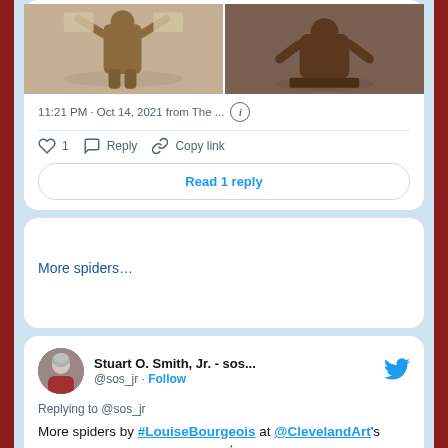[Figure (photo): Two bronze sculptures side by side, showing figurative artworks]
11:21 PM · Oct 14, 2021 from The ...
1  Reply  Copy link
Read 1 reply
More spiders…
Stuart O. Smith, Jr. - sos... @sos_jr · Follow
Replying to @sos_jr
More spiders by #LouiseBourgeois at @ClevelandArt's "Picturing #MotherhoodNow!" 🕷